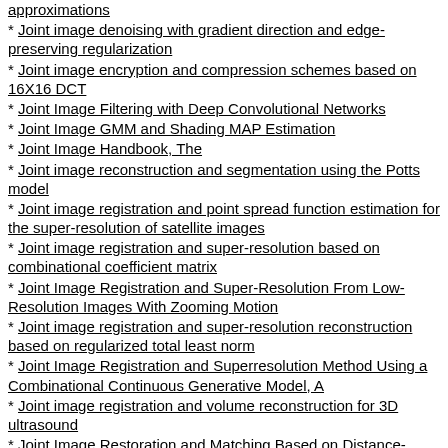approximations
Joint image denoising with gradient direction and edge-preserving regularization
Joint image encryption and compression schemes based on 16X16 DCT
Joint Image Filtering with Deep Convolutional Networks
Joint Image GMM and Shading MAP Estimation
Joint Image Handbook, The
Joint image reconstruction and segmentation using the Potts model
Joint image registration and point spread function estimation for the super-resolution of satellite images
Joint image registration and super-resolution based on combinational coefficient matrix
Joint Image Registration and Super-Resolution From Low-Resolution Images With Zooming Motion
Joint image registration and super-resolution reconstruction based on regularized total least norm
Joint Image Registration and Superresolution Method Using a Combinational Continuous Generative Model, A
Joint image registration and volume reconstruction for 3D ultrasound
Joint Image Restoration and Matching Based on Distance-Weighted Sparse Representation
Joint Image Restoration and Matching Based on Hierarchical Sparse Representation